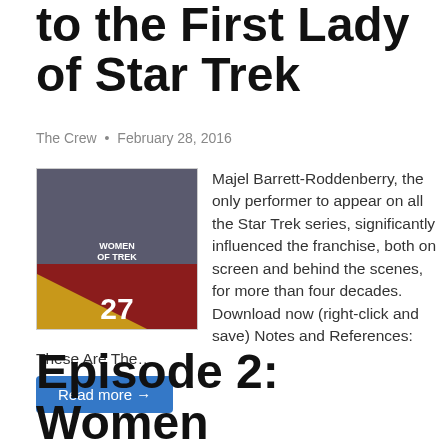to the First Lady of Star Trek
The Crew • February 28, 2016
[Figure (illustration): Podcast cover art showing episode 27 with women in Star Trek costumes, with red and gold geometric design]
Majel Barrett-Roddenberry, the only performer to appear on all the Star Trek series, significantly influenced the franchise, both on screen and behind the scenes, for more than four decades. Download now (right-click and save) Notes and References:
These Are The…
Read more →
Episode 2: Women